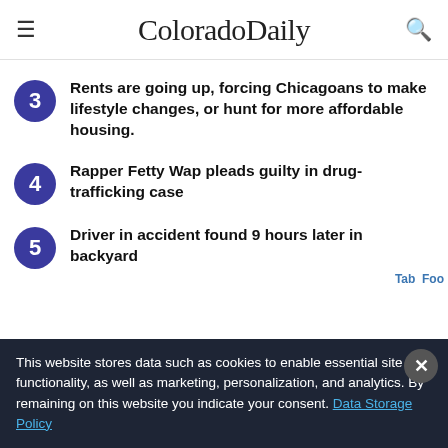ColoradoDaily
Rents are going up, forcing Chicagoans to make lifestyle changes, or hunt for more affordable housing.
Rapper Fetty Wap pleads guilty in drug-trafficking case
Driver in accident found 9 hours later in backyard
This website stores data such as cookies to enable essential site functionality, as well as marketing, personalization, and analytics. By remaining on this website you indicate your consent. Data Storage Policy